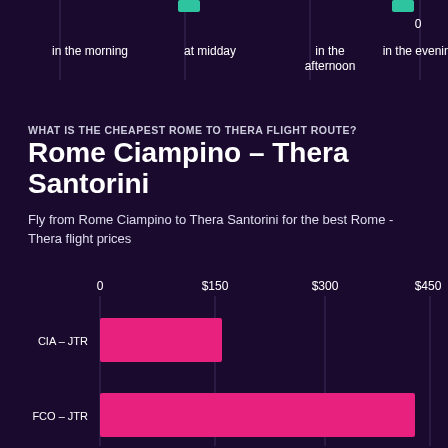[Figure (bar-chart): Partial bar chart from previous section showing time-of-day categories with green bars and a 0 label on the right]
WHAT IS THE CHEAPEST ROME TO THERA FLIGHT ROUTE?
Rome Ciampino – Thera Santorini
Fly from Rome Ciampino to Thera Santorini for the best Rome - Thera flight prices
[Figure (bar-chart): Cheapest Rome to Thera flight routes]